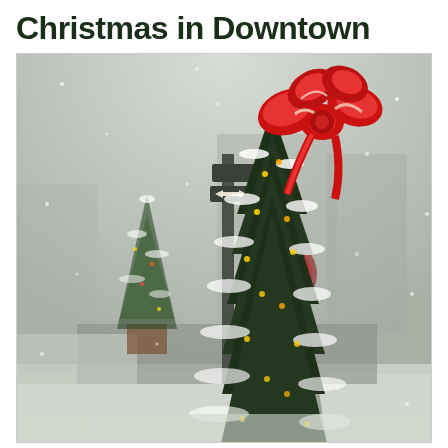Christmas in Downtown
[Figure (photo): A snowy winter street scene in a downtown area. In the foreground, a large snow-covered Christmas tree decorated with lights and topped with a large red and white bow/ribbon. In the background, another decorated Christmas tree, street signs, a pole, and blurred urban buildings. Snow is falling, covering everything in white.]